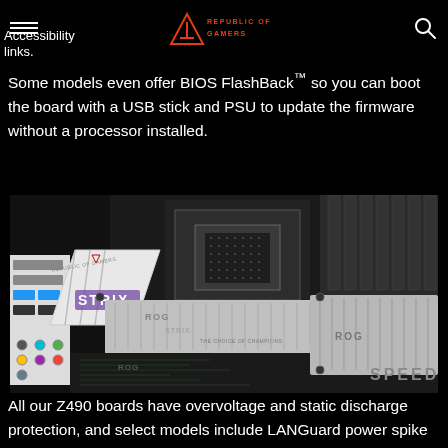ROG Republic of Gamers — Accessibility links
Some models even offer BIOS FlashBack™ so you can boot the board with a USB stick and PSU to update the firmware without a processor installed.
[Figure (photo): Close-up photo of an ASUS ROG Strix Z490 white and silver motherboard showing the CPU socket area, heatsinks, RAM slots, and ROG/Strix branding. The board has white and silver color scheme with black PCB elements. Text visible includes 'REPUBLIC OF GAMERS', 'STRIX', 'ROG', 'THE CHOICE OF CHAMPIONS', 'SPEED'.]
All our Z490 boards have overvoltage and static discharge protection, and select models include LANGuard power spike